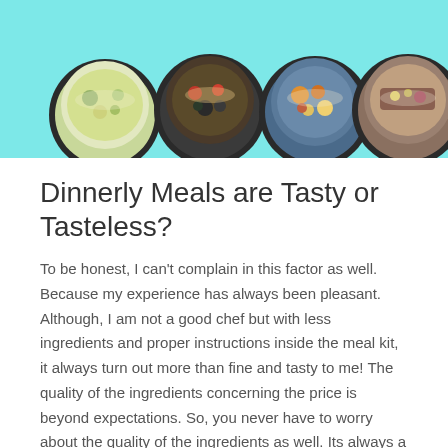[Figure (photo): Banner image with light teal/cyan background showing four circular bowls of food arranged in a row: grain/vegetable bowl, black bean and vegetable bowl, mixed vegetable bowl, and a meat dish with colorful toppings.]
Dinnerly Meals are Tasty or Tasteless?
To be honest, I can't complain in this factor as well. Because my experience has always been pleasant. Although, I am not a good chef but with less ingredients and proper instructions inside the meal kit, it always turn out more than fine and tasty to me!  The quality of the ingredients concerning the price is beyond expectations. So, you never have to worry about the quality of the ingredients as well. Its always a smart choice to go with Dinnerly. Time saving yet at a low effective price? What more you could ask for? Well, you can ask for more at Dinnerly with Dinnerly Promo Code. You can take advantage of $47 off their coupons and deals now. The